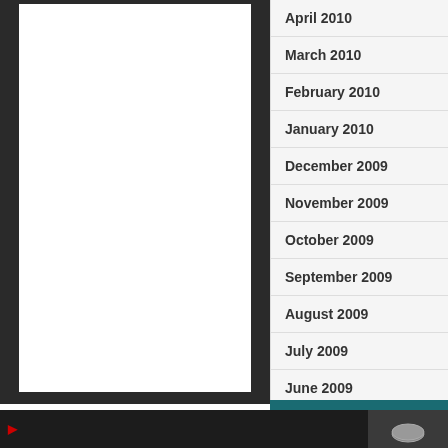[Figure (screenshot): Left panel with dark background and white content area]
April 2010
March 2010
February 2010
January 2010
December 2009
November 2009
October 2009
September 2009
August 2009
July 2009
June 2009
May 2009
April 2009
helenakarel's LIVE CHAT